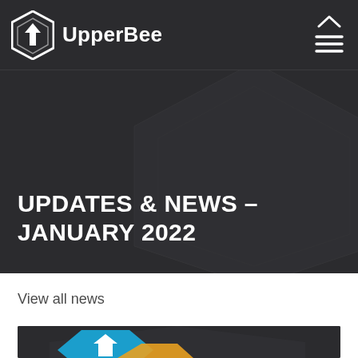UpperBee
UPDATES & NEWS – JANUARY 2022
View all news
[Figure (logo): UpperBee logo partial view at bottom of page showing blue and orange hexagon shapes]